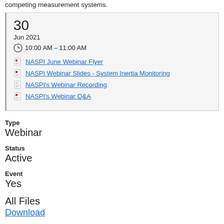competing measurement systems.
30
Jun 2021
10:00 AM – 11:00 AM
NASPI June Webinar Flyer
NASPI Webinar Slides - System Inertia Monitoring
NASPI's Webinar Recording
NASPI's Webinar Q&A
Type
Webinar
Status
Active
Event
Yes
All Files
Download